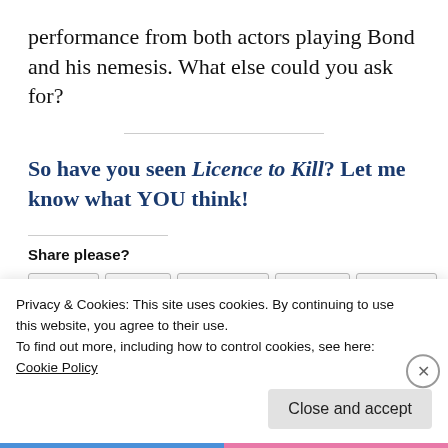performance from both actors playing Bond and his nemesis. What else could you ask for?
So have you seen Licence to Kill? Let me know what YOU think!
Share please?
[Figure (screenshot): Share buttons row: Email, Print, LinkedIn, Tumblr, Twitter]
Privacy & Cookies: This site uses cookies. By continuing to use this website, you agree to their use.
To find out more, including how to control cookies, see here: Cookie Policy
Close and accept